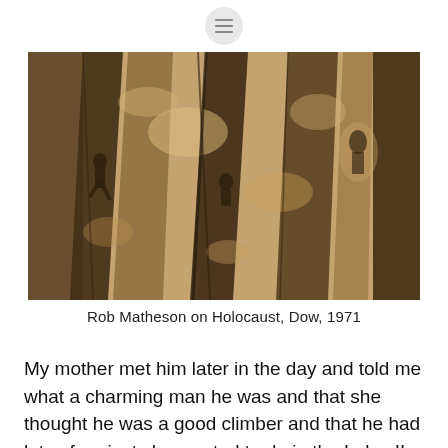[Figure (photo): Sepia-toned photograph of a rock face with climbers visible as dark silhouettes/figures on a steep, textured granite cliff. The image is high contrast with dark shadows and light rock surfaces.]
Rob Matheson on Holocaust, Dow, 1971
My mother met him later in the day and told me what a charming man he was and that she thought he was a good climber and that he had lots of projects he wanted to do in the Lakes!! The rest is history and no